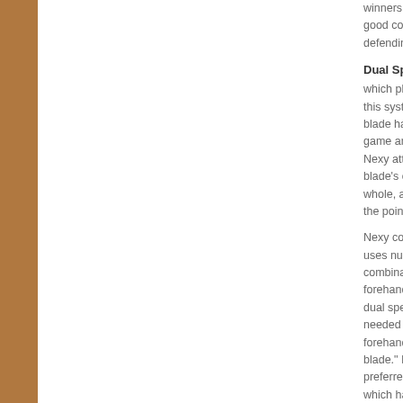winners when good control, b defending and
Dual Speed S
which players this system wit blade has two game and one Nexy attained blade's compo whole, and the the point of im
Nexy combine uses number ( combination of forehand side dual speed, so needed to win forehand and b blade." I use A preferred blad which has a pr